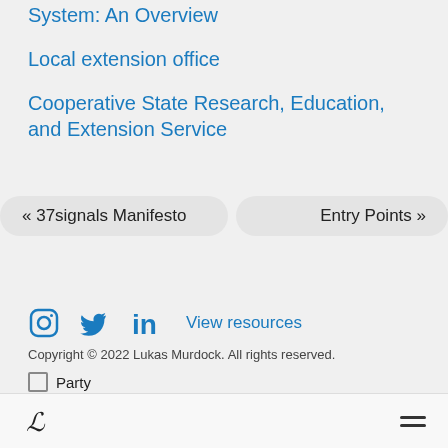System: An Overview
Local extension office
Cooperative State Research, Education, and Extension Service
« 37signals Manifesto
Entry Points »
[Figure (other): Social media icons: Instagram, Twitter, LinkedIn, and View resources link]
Copyright © 2022 Lukas Murdock. All rights reserved.
Party (checkbox)
Flourish logo and hamburger menu